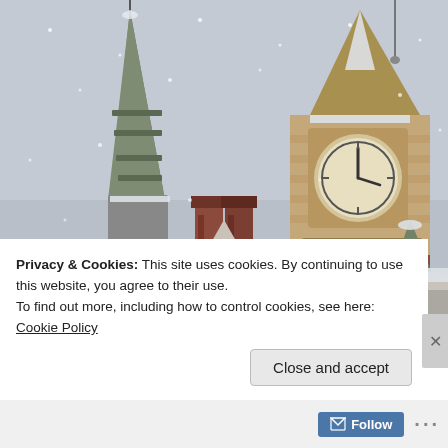[Figure (photo): Snow-covered historic building rooftops with a green spire on the left, a tall red-brick clock tower in the center-right showing a clock face, a pair of brick chimneys in the middle, and a conical stone turret on the right, all under a grey overcast winter sky with falling snow.]
Privacy & Cookies: This site uses cookies. By continuing to use this website, you agree to their use.
To find out more, including how to control cookies, see here: Cookie Policy
Close and accept